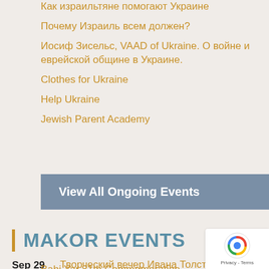Как израильтяне помогают Украине
Почему Израиль всем должен?
Иосиф Зисельс, VAAD of Ukraine. О войне и еврейской общине в Украине.
Clothes for Ukraine
Help Ukraine
Jewish Parent Academy
View All Ongoing Events
MAKOR EVENTS
Sep 29  Творческий вечер Ивана Толстого – презентация альманаха Connaisseu…
Babi Yar 81th Commemoration…